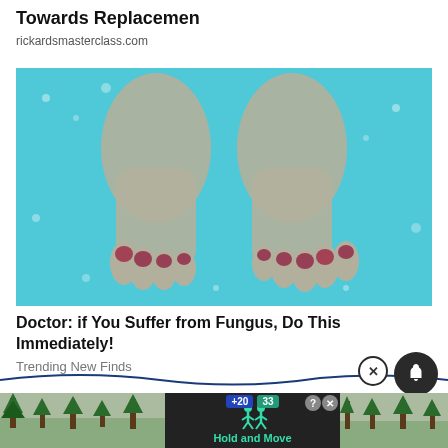Towards Replacemen
rickardsmasterclass.com
[Figure (photo): Two human feet soaking in blue bubbly water with red painted toenails visible]
Doctor: if You Suffer from Fungus, Do This Immediately!
Trending New Finds
[Figure (screenshot): Bottom strip with partial UI elements including a game-like interface showing 'Hold and Move' text and score boxes +20 and 33]